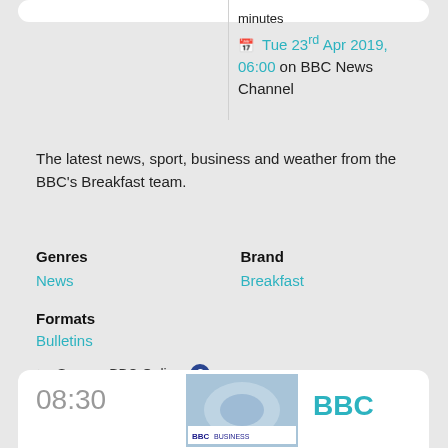minutes
Tue 23rd Apr 2019, 06:00 on BBC News Channel
The latest news, sport, business and weather from the BBC's Breakfast team.
Genres
News
Brand
Breakfast
Formats
Bulletins
Source: BBC Online
08:30
BBC